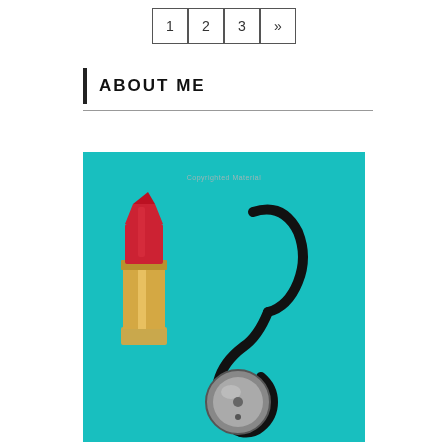1  2  3  »
ABOUT ME
[Figure (photo): Photo of a red lipstick and a stethoscope on a teal/turquoise background, with a watermark text reading 'Copyrighted Material']